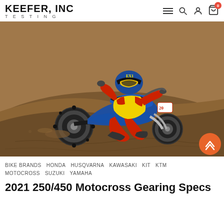KEEFER, INC TESTING
[Figure (photo): A motocross rider on a blue dirt bike leaning into a berm on a dirt track, wearing red and yellow gear with a blue helmet. The bike is a Yamaha-blue colored motocross bike kicking up dirt.]
BIKE BRANDS  HONDA  HUSQVARNA  KAWASAKI  KIT  KTM  MOTOCROSS  SUZUKI  YAMAHA
2021 250/450 Motocross Gearing Specs